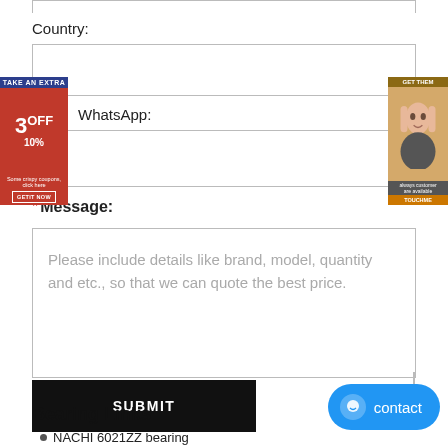Country:
WhatsApp:
* Message:
Please include details like brand, model, quantity and etc., so that we can quote the best price.
SUBMIT
Bearing Links
NACHI 6021ZZ bearing
[Figure (infographic): Left ad banner: blue top strip reading TAKE AN EXTRA, red main area with 3OFF 10% text and GETIT NOW button]
[Figure (infographic): Right ad banner: brown/orange banner with woman's face and TOUCHME button]
[Figure (other): Blue contact button with chat icon and 'contact' text]